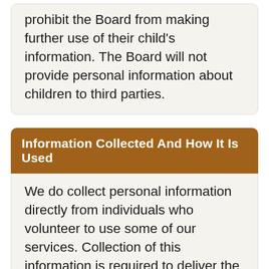prohibit the Board from making further use of their child's information. The Board will not provide personal information about children to third parties.
Information Collected And How It Is Used
We do collect personal information directly from individuals who volunteer to use some of our services. Collection of this information is required to deliver the specific services, but use of these services is voluntary. If you do nothing during your visit to the web site, but browse or download information, we